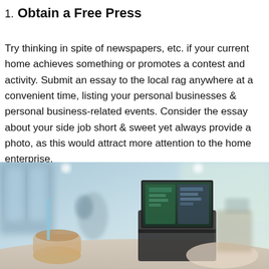1. Obtain a Free Press
Try thinking in spite of newspapers, etc. if your current home achieves something or promotes a contest and activity. Submit an essay to the local rag anywhere at a convenient time, listing your personal businesses & personal business-related events. Consider the essay about your side job short & sweet yet always provide a photo, as this would attract more attention to the home enterprise.
[Figure (photo): A photo of a person using a laptop in a café setting, with a coffee drink in the foreground and blurred background of café interior.]